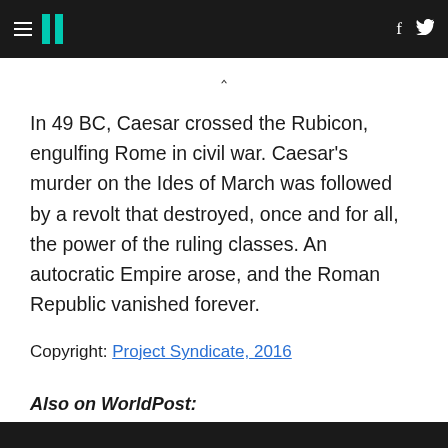HuffPost navigation header with hamburger menu, logo, Facebook and Twitter icons
^
In 49 BC, Caesar crossed the Rubicon, engulfing Rome in civil war. Caesar's murder on the Ides of March was followed by a revolt that destroyed, once and for all, the power of the ruling classes. An autocratic Empire arose, and the Roman Republic vanished forever.
Copyright: Project Syndicate, 2016
Also on WorldPost: